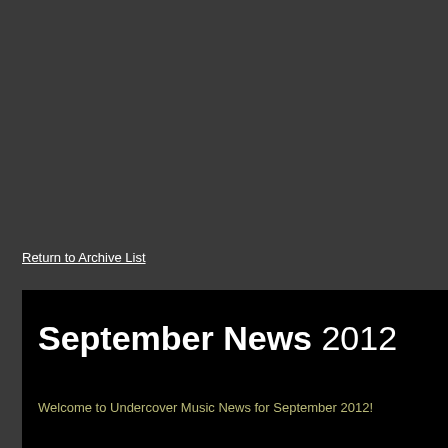Return to Archive List
September News 2012
Welcome to Undercover Music News for September 2012!